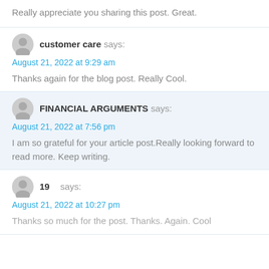Really appreciate you sharing this post. Great.
customer care says:
August 21, 2022 at 9:29 am
Thanks again for the blog post. Really Cool.
FINANCIAL ARGUMENTS says:
August 21, 2022 at 7:56 pm
I am so grateful for your article post.Really looking forward to read more. Keep writing.
19 says:
August 21, 2022 at 10:27 pm
Thanks so much for the post. Thanks. Again. Cool